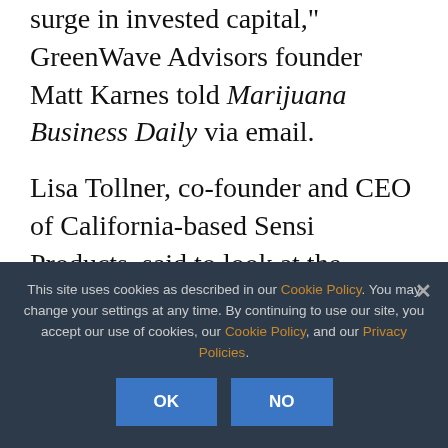surge in invested capital," GreenWave Advisors founder Matt Karnes told Marijuana Business Daily via email.
Lisa Tollner, co-founder and CEO of California-based Sensi Products, said to look at the biggest market on the West Coast for an idea of how New York's legalization will affect the industry.
"Taking from lessons learned in
This site uses cookies as described in our Cookie Policy. You may change your settings at any time. By continuing to use our site, you accept our use of cookies, our Cookie Policy, and our Privacy Policies.